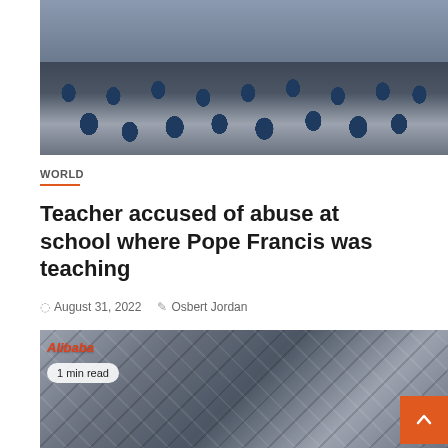[Figure (photo): Children in dark navy uniforms seated on a gymnasium floor, viewed from behind, facing forward toward a speaker or teacher]
WORLD
Teacher accused of abuse at school where Pope Francis was teaching
August 31, 2022  Osbert Jordan
[Figure (photo): Exterior facade of Alibaba building with a repeating geometric pattern of angled concrete or stone panels; Alibaba logo visible in top left corner with '1 min read' badge]